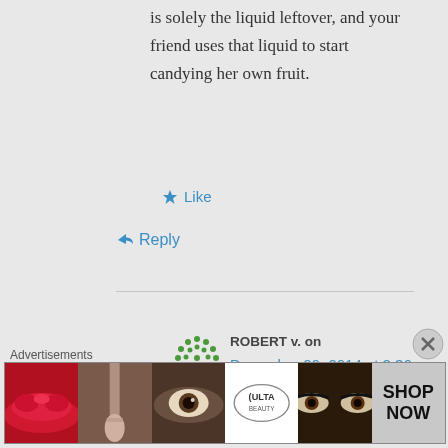is solely the liquid leftover, and your friend uses that liquid to start candying her own fruit.
★ Like
↳ Reply
ROBERT v. on December 29, 2014 at 2:36 pm
I have made these in past but lost my
[Figure (illustration): Green decorative avatar/profile icon made of circular dots pattern]
Advertisements
[Figure (photo): Ulta beauty advertisement banner showing makeup images including lips, brush, eye, Ulta logo, and eyes with Shop Now text]